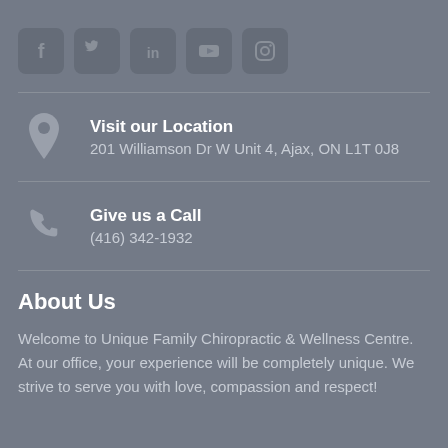[Figure (other): Row of social media icons: Facebook, Twitter, LinkedIn, YouTube, Instagram]
Visit our Location
201 Williamson Dr W Unit 4, Ajax, ON L1T 0J8
Give us a Call
(416) 342-1932
About Us
Welcome to Unique Family Chiropractic & Wellness Centre. At our office, your experience will be completely unique. We strive to serve you with love, compassion and respect!